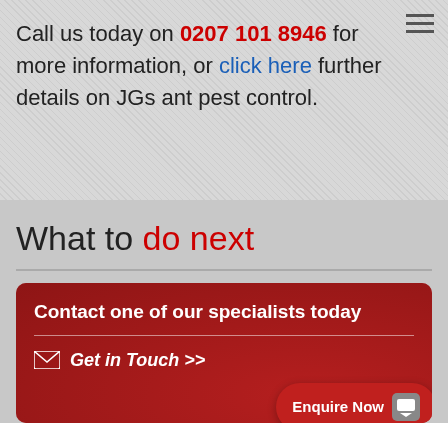Call us today on 0207 101 8946 for more information, or click here further details on JGs ant pest control.
What to do next
Contact one of our specialists today
Get in Touch >>